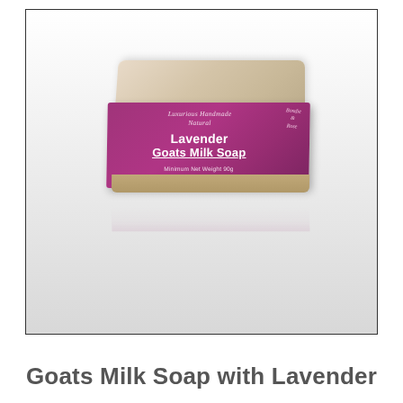[Figure (photo): A bar of Lavender Goats Milk Soap with a purple/magenta label showing 'Luxurious Handmade Natural, Lavender Goats Milk Soap, Minimum Net Weight 90g' and brand name 'Bondie & Rose' on the side, sitting on a light grey/white reflective surface.]
Goats Milk Soap with Lavender